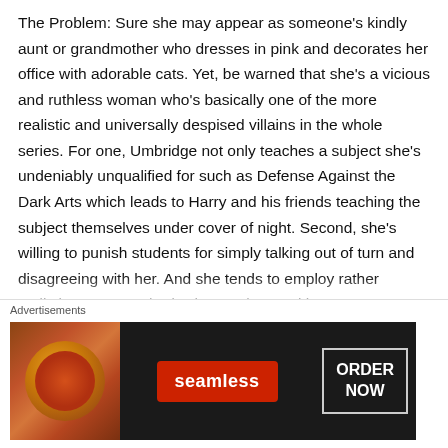The Problem: Sure she may appear as someone's kindly aunt or grandmother who dresses in pink and decorates her office with adorable cats. Yet, be warned that she's a vicious and ruthless woman who's basically one of the more realistic and universally despised villains in the whole series. For one, Umbridge not only teaches a subject she's undeniably unqualified for such as Defense Against the Dark Arts which leads to Harry and his friends teaching the subject themselves under cover of night. Second, she's willing to punish students for simply talking out of turn and disagreeing with her. And she tends to employ rather sadistic torture methods she employes with
Advertisements
[Figure (other): Seamless food delivery advertisement banner showing pizza on the left, seamless logo in red in the center, and ORDER NOW text in a box on the right, all on a dark background.]